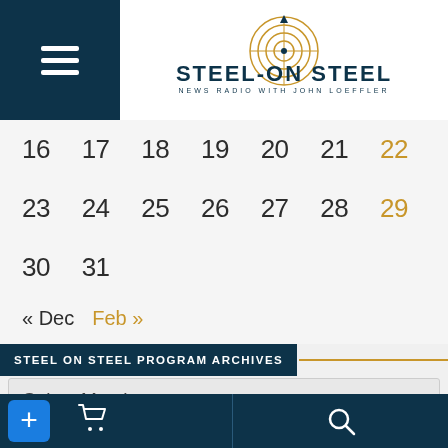[Figure (logo): Steel on Steel News Radio with John Loeffler logo with target/crosshair graphic in gold and navy text]
| 16 | 17 | 18 | 19 | 20 | 21 | 22 |
| 23 | 24 | 25 | 26 | 27 | 28 | 29 |
| 30 | 31 |  |  |  |  |  |
« Dec  Feb »
STEEL ON STEEL PROGRAM ARCHIVES
Select Month
SEARCH STEEL ON STEEL